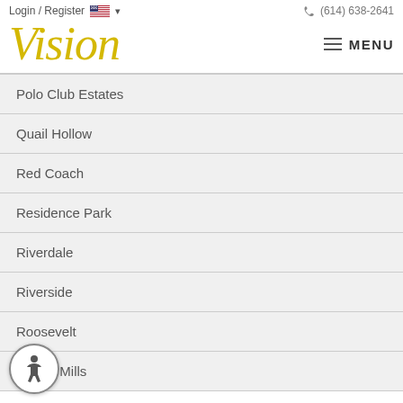Login / Register   (614) 638-2641
Vision
Polo Club Estates
Quail Hollow
Red Coach
Residence Park
Riverdale
Riverside
Roosevelt
Rubicon Mills